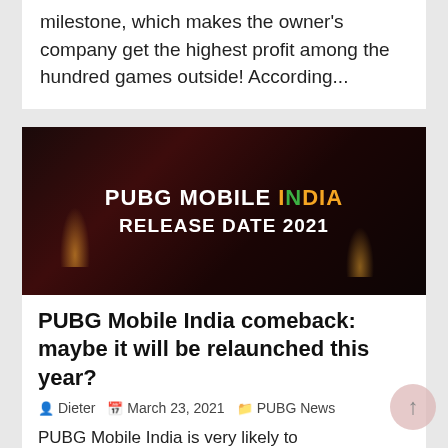milestone, which makes the owner's company get the highest profit among the hundred games outside! According...
[Figure (photo): PUBG Mobile India Release Date 2021 promotional image with candles and dark dramatic background]
PUBG Mobile India comeback: maybe it will be relaunched this year?
Dieter  March 23, 2021  PUBG News
PUBG Mobile India is very likely to